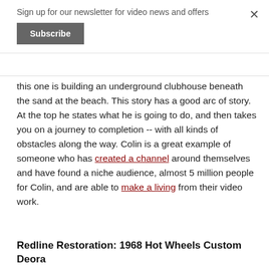Sign up for our newsletter for video news and offers
Subscribe
this one is building an underground clubhouse beneath the sand at the beach. This story has a good arc of story. At the top he states what he is going to do, and then takes you on a journey to completion -- with all kinds of obstacles along the way. Colin is a great example of someone who has created a channel around themselves and have found a niche audience, almost 5 million people for Colin, and are able to make a living from their video work.
Redline Restoration: 1968 Hot Wheels Custom Deora